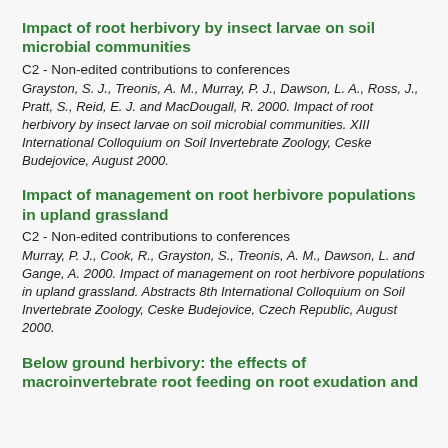Impact of root herbivory by insect larvae on soil microbial communities
C2 - Non-edited contributions to conferences
Grayston, S. J., Treonis, A. M., Murray, P. J., Dawson, L. A., Ross, J., Pratt, S., Reid, E. J. and MacDougall, R. 2000. Impact of root herbivory by insect larvae on soil microbial communities. XIII International Colloquium on Soil Invertebrate Zoology, Ceske Budejovice, August 2000.
Impact of management on root herbivore populations in upland grassland
C2 - Non-edited contributions to conferences
Murray, P. J., Cook, R., Grayston, S., Treonis, A. M., Dawson, L. and Gange, A. 2000. Impact of management on root herbivore populations in upland grassland. Abstracts 8th International Colloquium on Soil Invertebrate Zoology, Ceske Budejovice, Czech Republic, August 2000.
Below ground herbivory: the effects of macroinvertebrate root feeding on root exudation and